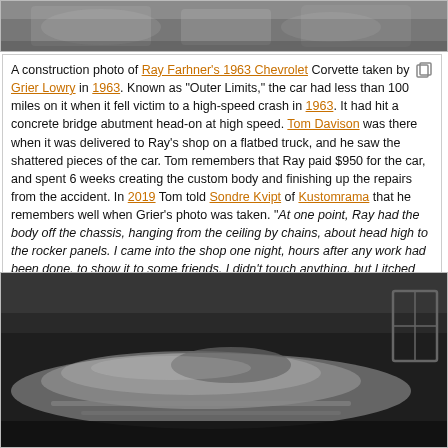[Figure (photo): Black and white construction photo of a Corvette, top portion showing car body details]
A construction photo of Ray Farhner's 1963 Chevrolet Corvette taken by Grier Lowry in 1963. Known as "Outer Limits," the car had less than 100 miles on it when it fell victim to a high-speed crash in 1963. It had hit a concrete bridge abutment head-on at high speed. Tom Davison was there when it was delivered to Ray's shop on a flatbed truck, and he saw the shattered pieces of the car. Tom remembers that Ray paid $950 for the car, and spent 6 weeks creating the custom body and finishing up the repairs from the accident. In 2019 Tom told Sondre Kvipt of Kustomrama that he remembers well when Grier's photo was taken. "At one point, Ray had the body off the chassis, hanging from the ceiling by chains, about head high to the rocker panels. I came into the shop one night, hours after any work had been done, to show it to some friends. I didn't touch anything, but I itched from the fiberglass in the air I guess." Photo by Grier Lowry, courtesy of Ray Soff.
[Figure (photo): Black and white photo of the Corvette body hanging from ceiling by chains in Ray's shop, dark background with window visible on right]